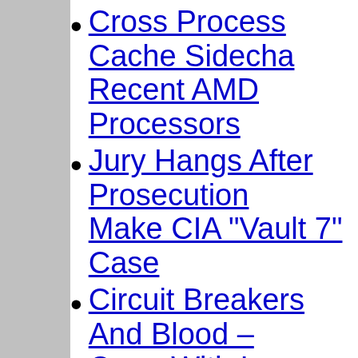Cross Process Cache Sidechannel Attacks On Recent AMD Processors
Jury Hangs After Prosecution Fails To Make CIA "Vault 7" Case
Circuit Breakers And Blood – Open With Losses
Oil Futures Crash As Asian Markets Close For The Week With Russia And Saudi Arabia Declining To Agree To Production Cuts
University Of Tennessee Knoxville Sends Professor To Prison For Simultaneously Dual Affiliations
Lebanon's Diab Announces Default On Eurobond Debt